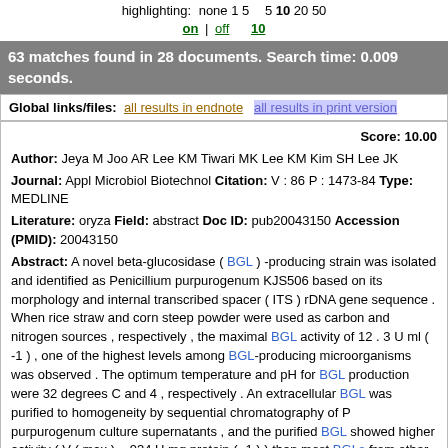highlighting: none 1 5 5 10 20 50
on | off
10
63 matches found in 28 documents. Search time: 0.009 seconds.
Global links/files: all results in endnote  all results in print version
Score: 10.00
Author: Jeya M Joo AR Lee KM Tiwari MK Lee KM Kim SH Lee JK
Journal: Appl Microbiol Biotechnol Citation: V : 86 P : 1473-84 Type: MEDLINE
Literature: oryza Field: abstract Doc ID: pub20043150 Accession (PMID): 20043150
Abstract: A novel beta-glucosidase ( BGL ) -producing strain was isolated and identified as Penicillium purpurogenum KJS506 based on its morphology and internal transcribed spacer ( ITS ) rDNA gene sequence . When rice straw and corn steep powder were used as carbon and nitrogen sources , respectively , the maximal BGL activity of 12 . 3 U ml ( -1 ) , one of the highest levels among BGL-producing microorganisms was observed . The optimum temperature and pH for BGL production were 32 degrees C and 4 , respectively . An extracellular BGL was purified to homogeneity by sequential chromatography of P purpurogenum culture supernatants , and the purified BGL showed higher activity ( V ( max ) = 934 U mg protein ( -1 ) ) than most BGLs from other sources . The complete ORF of bgl3 was cloned from P purpurogenum by a modified thermal asymmetric interlaced polymerase chain reaction . The bgl3 gene consists of a 2 , 571-bp ORF and encodes a putative protein containing 856 amino acids with a calculated